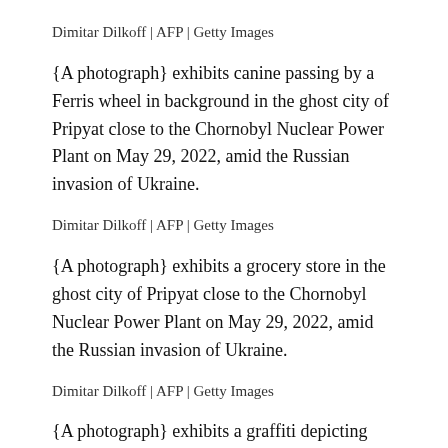Dimitar Dilkoff | AFP | Getty Images
{A photograph} exhibits canine passing by a Ferris wheel in background in the ghost city of Pripyat close to the Chornobyl Nuclear Power Plant on May 29, 2022, amid the Russian invasion of Ukraine.
Dimitar Dilkoff | AFP | Getty Images
{A photograph} exhibits a grocery store in the ghost city of Pripyat close to the Chornobyl Nuclear Power Plant on May 29, 2022, amid the Russian invasion of Ukraine.
Dimitar Dilkoff | AFP | Getty Images
{A photograph} exhibits a graffiti depicting bears in the ghost city of Pripyat close to the Chornobyl